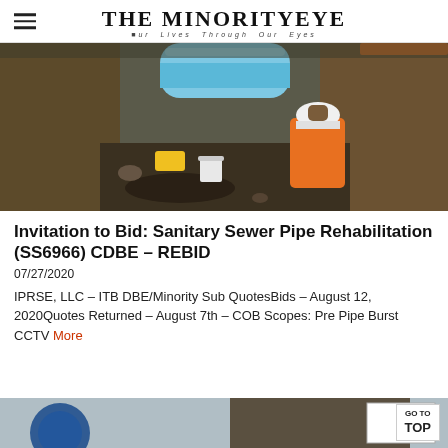THE MINORITYEYE — Our Lives Through Our Eyes
[Figure (photo): Construction worker in orange vest and white hard hat in an excavated trench with a blue sewer pipe being laid in dirt.]
Invitation to Bid: Sanitary Sewer Pipe Rehabilitation (SS6966) CDBE – REBID
07/27/2020
IPRSE, LLC – ITB DBE/Minority Sub QuotesBids – August 12, 2020Quotes Returned – August 7th – COB Scopes: Pre Pipe Burst CCTV More